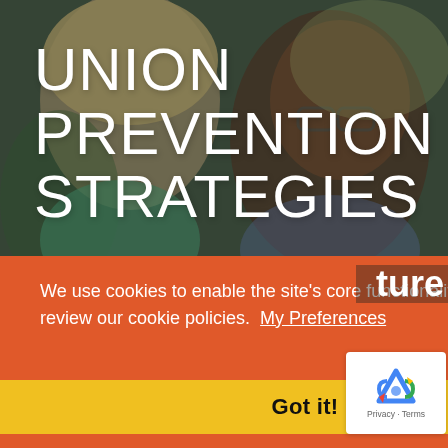[Figure (photo): Background photo of smiling people, a woman and a man with glasses, slightly darkened overlay]
UNION PREVENTION STRATEGIES
We use cookies to enable the site’s core functionalities. Please review our cookie policies.  My Preferences
Got it!
[Figure (other): reCAPTCHA logo with Privacy - Terms text]